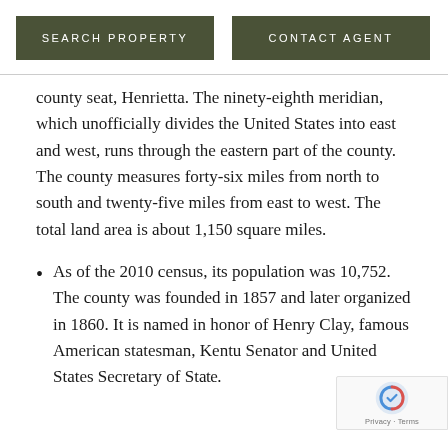SEARCH PROPERTY    CONTACT AGENT
county seat, Henrietta. The ninety-eighth meridian, which unofficially divides the United States into east and west, runs through the eastern part of the county. The county measures forty-six miles from north to south and twenty-five miles from east to west. The total land area is about 1,150 square miles.
As of the 2010 census, its population was 10,752. The county was founded in 1857 and later organized in 1860. It is named in honor of Henry Clay, famous American statesman, Kentucky Senator and United States Secretary of State.